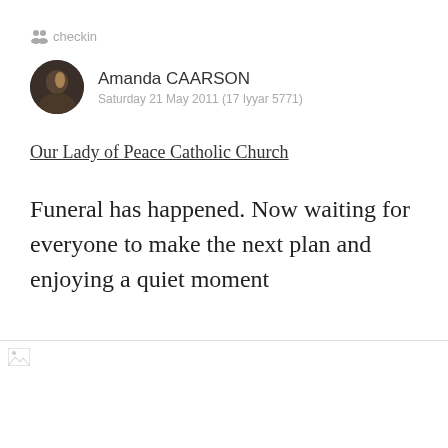checkin
Amanda CAARSON
Saturday 21 May 2011 (17 Iyyar 5771)
Our Lady of Peace Catholic Church
Funeral has happened. Now waiting for everyone to make the next plan and enjoying a quiet moment
[Figure (photo): Broken image placeholder at bottom of page]